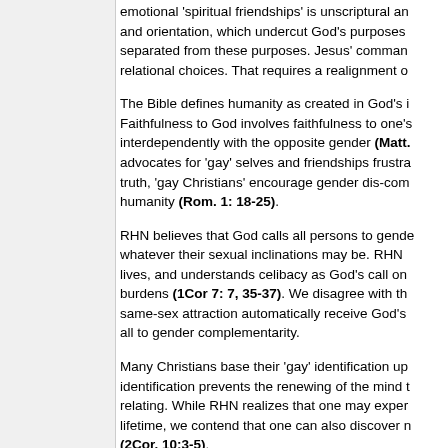emotional 'spiritual friendships' is unscriptural and orientation, which undercut God's purposes separated from these purposes. Jesus' command relational choices. That requires a realignment o
The Bible defines humanity as created in God's i Faithfulness to God involves faithfulness to one's interdependently with the opposite gender (Matt. advocates for 'gay' selves and friendships frustra truth, 'gay Christians' encourage gender dis-com humanity (Rom. 1: 18-25).
RHN believes that God calls all persons to gende whatever their sexual inclinations may be. RHN lives, and understands celibacy as God's call on burdens (1Cor 7: 7, 35-37). We disagree with th same-sex attraction automatically receive God's all to gender complementarity.
Many Christians base their 'gay' identification up identification prevents the renewing of the mind t relating. While RHN realizes that one may exper lifetime, we contend that one can also discover n (2Cor. 10:3-5).
After all, we are turning toward the Author and R than our desires. He asks us to forego any identi transformation He desires for us. 'Do not conform transformed by the renewing of your mind. Then His good, pleasing and perfect will' (Romans 12